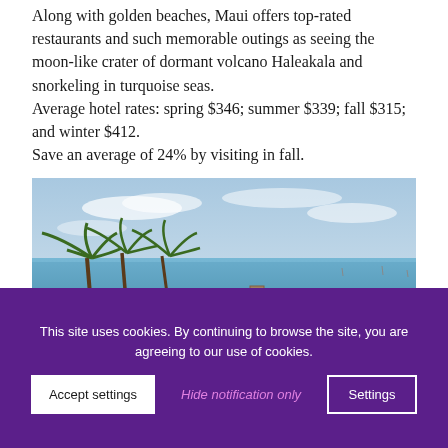Along with golden beaches, Maui offers top-rated restaurants and such memorable outings as seeing the moon-like crater of dormant volcano Haleakala and snorkeling in turquoise seas.
Average hotel rates: spring $346; summer $339; fall $315; and winter $412.
Save an average of 24% by visiting in fall.
[Figure (photo): A sandy beach curving along a calm turquoise sea with palm trees on the left side and a cloudy sky above.]
This site uses cookies. By continuing to browse the site, you are agreeing to our use of cookies.